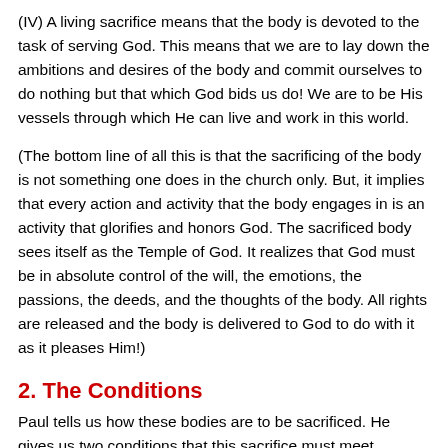(IV) A living sacrifice means that the body is devoted to the task of serving God. This means that we are to lay down the ambitions and desires of the body and commit ourselves to do nothing but that which God bids us do! We are to be His vessels through which He can live and work in this world.
(The bottom line of all this is that the sacrificing of the body is not something one does in the church only. But, it implies that every action and activity that the body engages in is an activity that glorifies and honors God. The sacrificed body sees itself as the Temple of God. It realizes that God must be in absolute control of the will, the emotions, the passions, the deeds, and the thoughts of the body. All rights are released and the body is delivered to God to do with it as it pleases Him!)
2. The Conditions
Paul tells us how these bodies are to be sacrificed. He gives us two conditions that this sacrifice must meet.